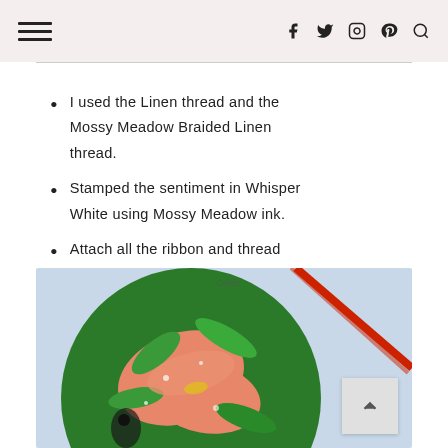Navigation header with hamburger menu and social icons (Facebook, Twitter, Instagram, Pinterest, Search)
I used the Linen thread and the Mossy Meadow Braided Linen thread.
Stamped the sentiment in Whisper White using Mossy Meadow ink.
Attach all the ribbon and thread using glue dots.
[Figure (photo): Close-up photo of a circular craft piece featuring a colorful dragonfly or bird design with green leaves, pink/coral coloring, and a diagonal red ribbon or thread, on a light blue background.]